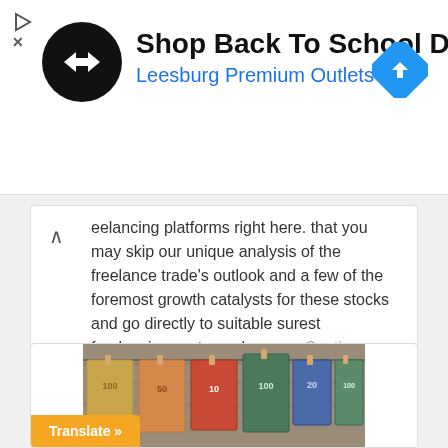[Figure (screenshot): Advertisement banner for 'Shop Back To School Deals' at Leesburg Premium Outlets with logo and navigation arrow icon]
eelancing platforms right here. that you may skip our unique analysis of the freelance trade's outlook and a few of the foremost growth catalysts for these stocks and go directly to suitable surest freelancing systems. Learn ... Continue reading
C V SINGH  0
[Figure (photo): Euro banknotes of various denominations (100, 50, 10, 20, 100) hanging on a clothesline with wooden background]
Translate »